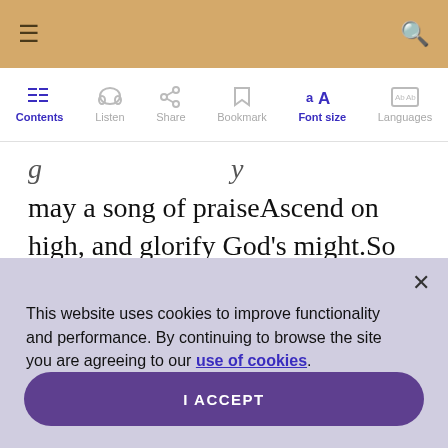≡  [hamburger menu]  [search icon]
[Figure (screenshot): Navigation toolbar with icons and labels: Contents (list icon, active/blue), Listen (headphones icon), Share (share icon), Bookmark (bookmark icon), Font size (AA icon, active/blue), Languages (globe/text icon)]
may a song of praiseAscend on high, and glorify God's might.So when the weary years
This website uses cookies to improve functionality and performance. By continuing to browse the site you are agreeing to our use of cookies.
I ACCEPT